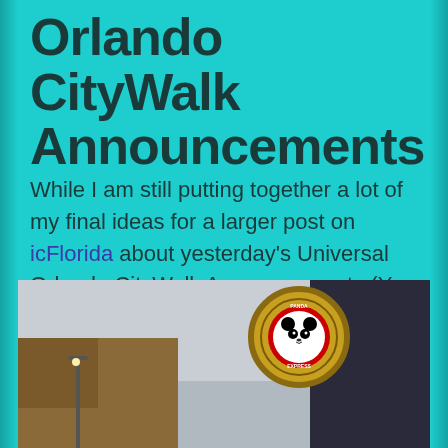Orlando CityWalk Announcements
While I am still putting together a lot of my final ideas for a larger post on icFlorida about yesterday's Universal Orlando CityWalk Announcements (You can find the Press Release here), I wanted to take a moment to look at my initial reactions to what we were shown.
[Figure (photo): Outdoor photo showing a Panda Express circular sign on a pole against an overcast sky, with brick buildings visible including a dark building on the right side.]